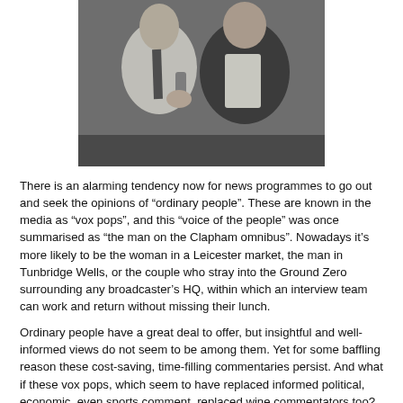[Figure (photo): Black and white photograph showing two men in suits, one appears to be holding a microphone.]
There is an alarming tendency now for news programmes to go out and seek the opinions of “ordinary people”. These are known in the media as “vox pops”, and this “voice of the people” was once summarised as “the man on the Clapham omnibus”. Nowadays it’s more likely to be the woman in a Leicester market, the man in Tunbridge Wells, or the couple who stray into the Ground Zero surrounding any broadcaster’s HQ, within which an interview team can work and return without missing their lunch.
Ordinary people have a great deal to offer, but insightful and well-informed views do not seem to be among them. Yet for some baffling reason these cost-saving, time-filling commentaries persist. And what if these vox pops, which seem to have replaced informed political, economic, even sports comment, replaced wine commentators too?
“They’ve been coming over here from France and Italy and Spain for years. Now they’re coming from South Africa and Australia and South…